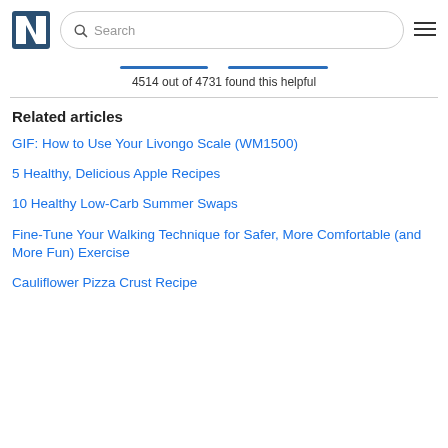Search
4514 out of 4731 found this helpful
Related articles
GIF: How to Use Your Livongo Scale (WM1500)
5 Healthy, Delicious Apple Recipes
10 Healthy Low-Carb Summer Swaps
Fine-Tune Your Walking Technique for Safer, More Comfortable (and More Fun) Exercise
Cauliflower Pizza Crust Recipe